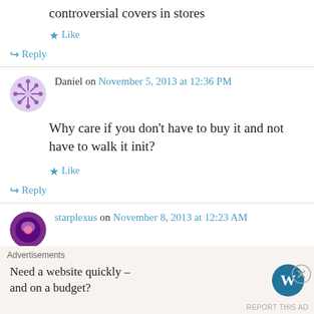controversial covers in stores
★ Like
↪ Reply
Daniel on November 5, 2013 at 12:36 PM
Why care if you don't have to buy it and not have to walk it init?
★ Like
↪ Reply
starplexus on November 8, 2013 at 12:23 AM
Advertisements
Need a website quickly – and on a budget?